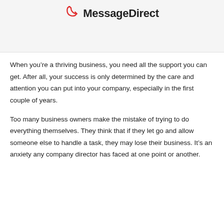[Figure (logo): MessageDirect logo with red phone/headset icon and bold text 'MessageDirect']
When you’re a thriving business, you need all the support you can get. After all, your success is only determined by the care and attention you can put into your company, especially in the first couple of years.
Too many business owners make the mistake of trying to do everything themselves. They think that if they let go and allow someone else to handle a task, they may lose their business. It’s an anxiety any company director has faced at one point or another.